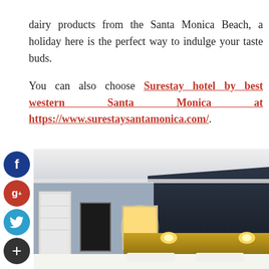dairy products from the Santa Monica Beach, a holiday here is the perfect way to indulge your taste buds.

You can also choose Surestay hotel by best western Santa Monica at https://www.surestaysantamonica.com/.
[Figure (photo): Hotel room interior showing a modern bedroom with dark navy feature wall, illuminated bathroom mirror, golden headboard, white bedding, and wall sconces. Social media share buttons (Facebook, Google+, Twitter, Add) are overlaid on the left side.]